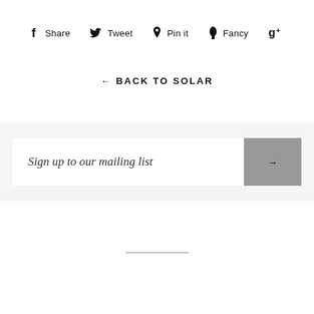f Share   Tweet   Pin it   Fancy   g+
← BACK TO SOLAR
Sign up to our mailing list